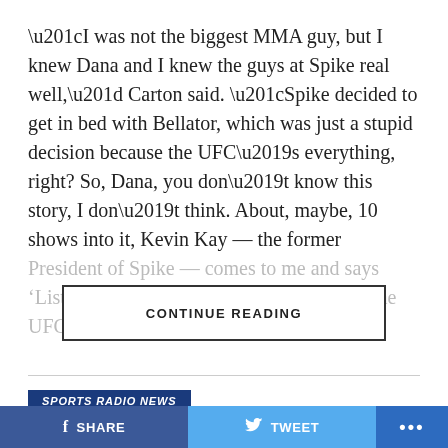“I was not the biggest MMA guy, but I knew Dana and I knew the guys at Spike real well,” Carton said. “Spike decided to get in bed with Bellator, which was just a stupid decision because the UFC’s everything, right? So, Dana, you don’t know this story, I don’t think. About, maybe, 10 shows into it, Kevin Kay — the former President of Spike — comes to me and says ‘Listen, from now on, you can’t talk about the UFC.’ And I go ‘Wai’a…
CONTINUE READING
SPORTS RADIO NEWS
Dustin Fox: Adam The Bull
SHARE
TWEET
…